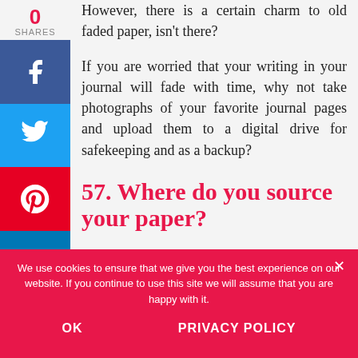However, there is a certain charm to old faded paper, isn't there?
If you are worried that your writing in your journal will fade with time, why not take photographs of your favorite journal pages and upload them to a digital drive for safekeeping and as a backup?
57. Where do you source your paper?
We use cookies to ensure that we give you the best experience on our website. If you continue to use this site we will assume that you are happy with it.
OK
PRIVACY POLICY